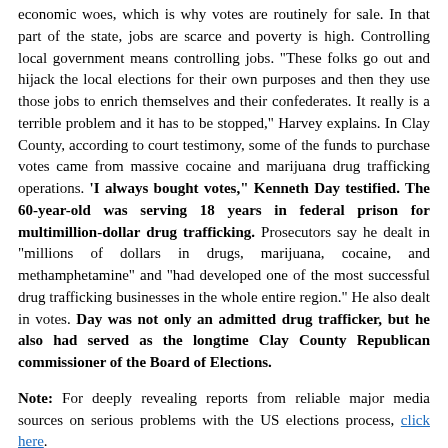economic woes, which is why votes are routinely for sale. In that part of the state, jobs are scarce and poverty is high. Controlling local government means controlling jobs. "These folks go out and hijack the local elections for their own purposes and then they use those jobs to enrich themselves and their confederates. It really is a terrible problem and it has to be stopped," Harvey explains. In Clay County, according to court testimony, some of the funds to purchase votes came from massive cocaine and marijuana drug trafficking operations. 'I always bought votes,' Kenneth Day testified. The 60-year-old was serving 18 years in federal prison for multimillion-dollar drug trafficking. Prosecutors say he dealt in "millions of dollars in drugs, marijuana, cocaine, and methamphetamine" and "had developed one of the most successful drug trafficking businesses in the whole entire region." He also dealt in votes. Day was not only an admitted drug trafficker, but he also had served as the longtime Clay County Republican commissioner of the Board of Elections.
Note: For deeply revealing reports from reliable major media sources on serious problems with the US elections process, click here.